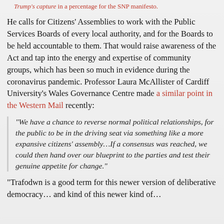Trump's capture in a percentage for the SNP manifesto.
He calls for Citizens' Assemblies to work with the Public Services Boards of every local authority, and for the Boards to be held accountable to them. That would raise awareness of the Act and tap into the energy and expertise of community groups, which has been so much in evidence during the coronavirus pandemic. Professor Laura McAllister of Cardiff University's Wales Governance Centre made a similar point in the Western Mail recently:
“We have a chance to reverse normal political relationships, for the public to be in the driving seat via something like a more expansive citizens’ assembly…If a consensus was reached, we could then hand over our blueprint to the parties and test their genuine appetite for change.”
“Trafodwn is a good term for this newer version of deliberative democracy… and kind of this newer kind of…